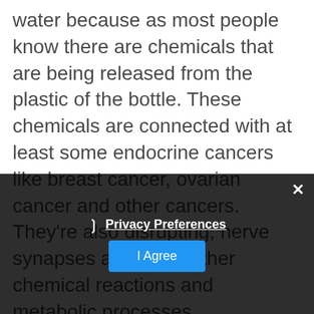water because as most people know there are chemicals that are being released from the plastic of the bottle. These chemicals are connected with at least some endocrine cancers like breast cancer, ovarian cancer and other cancers. They're also disrupting, nerve synapses and block other chemical reactions and metabolic processes.
What I recommend is to have water, but have it filtered. It's probably the best bet. When people live in area where the city water is fluoridated I strongly advise them to totally stay away from that water. It is my firm belief that fluoridated water is very harmful to people's health. Fluoride competes with iodine and this is one good reason why lots and lots of people develop
Privacy Preferences
I Agree